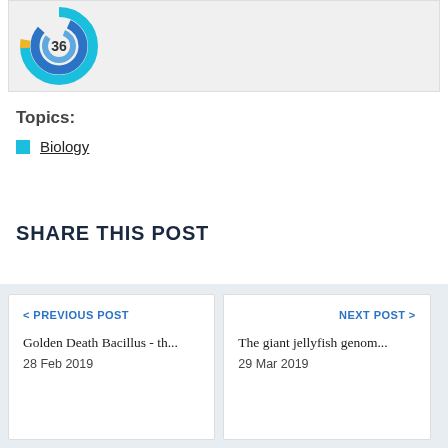[Figure (donut-chart): Partial view of a donut/ring chart with blue and teal colors, showing '36' in the center]
Topics:
Biology
SHARE THIS POST
< PREVIOUS POST
Golden Death Bacillus - th...
28 Feb 2019
NEXT POST >
The giant jellyfish genom...
29 Mar 2019